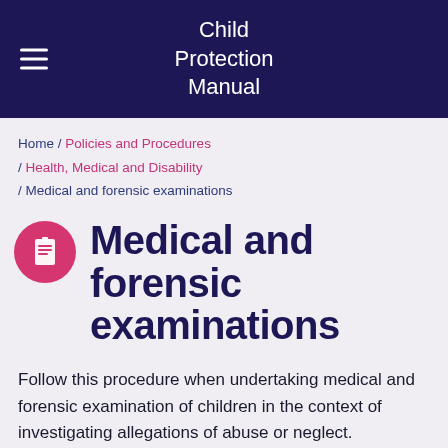Child Protection Manual
Home / Policies and Procedures / Health, Medical and Disability / Medical and forensic examinations
Medical and forensic examinations
Follow this procedure when undertaking medical and forensic examination of children in the context of investigating allegations of abuse or neglect.